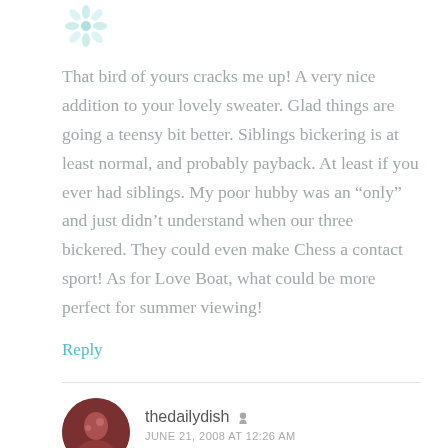[Figure (illustration): Decorative snowflake/flower icon in teal color at top]
That bird of yours cracks me up! A very nice addition to your lovely sweater. Glad things are going a teensy bit better. Siblings bickering is at least normal, and probably payback. At least if you ever had siblings. My poor hubby was an “only” and just didn't understand when our three bickered. They could even make Chess a contact sport! As for Love Boat, what could be more perfect for summer viewing!
Reply
[Figure (photo): Circular avatar photo of thedailydish user showing a woman with reddish tones]
thedailydish
JUNE 21, 2008 AT 12:26 AM